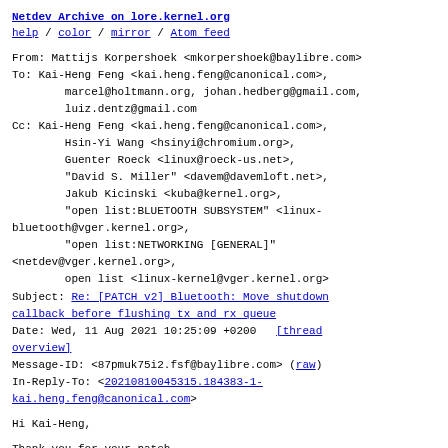Netdev Archive on lore.kernel.org
help / color / mirror / Atom feed
From: Mattijs Korpershoek <mkorpershoek@baylibre.com>
To: Kai-Heng Feng <kai.heng.feng@canonical.com>,
        marcel@holtmann.org, johan.hedberg@gmail.com,
        luiz.dentz@gmail.com
Cc: Kai-Heng Feng <kai.heng.feng@canonical.com>,
        Hsin-Yi Wang <hsinyi@chromium.org>,
        Guenter Roeck <linux@roeck-us.net>,
        "David S. Miller" <davem@davemloft.net>,
        Jakub Kicinski <kuba@kernel.org>,
        "open list:BLUETOOTH SUBSYSTEM" <linux-bluetooth@vger.kernel.org>,
        "open list:NETWORKING [GENERAL]" <netdev@vger.kernel.org>,
        open list <linux-kernel@vger.kernel.org>
Subject: Re: [PATCH v2] Bluetooth: Move shutdown callback before flushing tx and rx queue
Date: Wed, 11 Aug 2021 10:25:09 +0200   [thread overview]
Message-ID: <87pmuk75i2.fsf@baylibre.com> (raw)
In-Reply-To: <20210810045315.184383-1-kai.heng.feng@canonical.com>
Hi Kai-Heng,
Thank you for your patch.
Kai-Heng Feng <kai.heng.feng@canonical.com> writes: